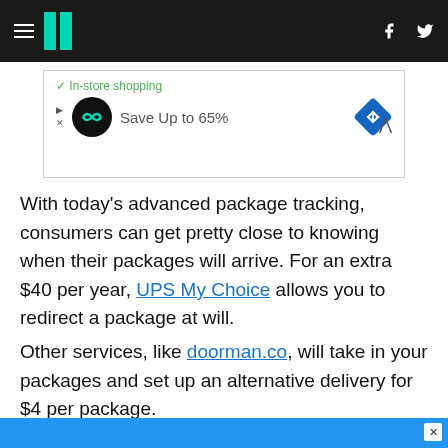HuffPost navigation header with hamburger menu, logo, Facebook and Twitter icons
[Figure (screenshot): Advertisement banner showing in-store shopping checkmark, infinity loop logo, Save Up to 65% text, and blue navigation diamond icon]
With today's advanced package tracking, consumers can get pretty close to knowing when their packages will arrive. For an extra $40 per year, UPS My Choice allows you to redirect a package at will.
Other services, like doorman.co, will take in your packages and set up an alternative delivery for $4 per package.
(Editing by Lauren Young and David Gregorio)
[Figure (screenshot): Bottom advertisement banner in blue]